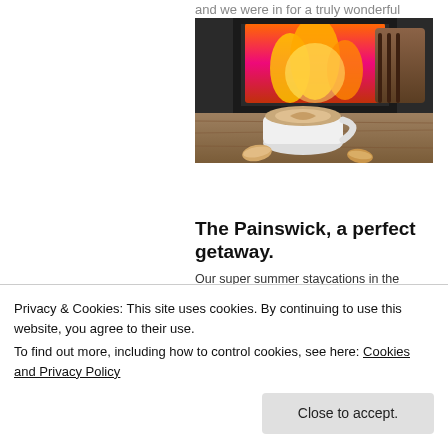and we were in for a truly wonderful treat.. Service at M....
[Figure (photo): A white coffee cup with latte art on a wooden surface in front of a glowing wood-burning stove fireplace, with biscuits beside the cup.]
The Painswick, a perfect getaway.
Our super summer staycations in the Cotswolds are mostly about the things
Privacy & Cookies: This site uses cookies. By continuing to use this website, you agree to their use.
To find out more, including how to control cookies, see here: Cookies and Privacy Policy
Close to accept.